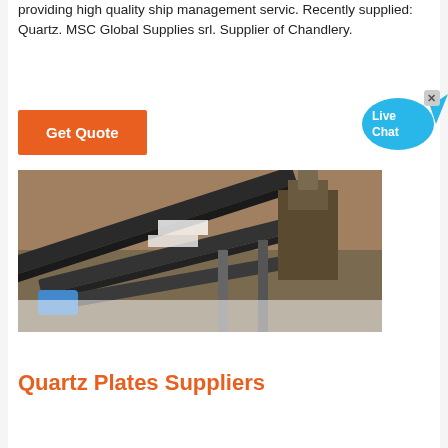providing high quality ship management servic. Recently supplied: Quartz. MSC Global Supplies srl. Supplier of Chandlery.
[Figure (other): Orange 'Get Quote' button]
[Figure (other): Live Chat bubble icon in blue]
[Figure (photo): Aerial view of industrial conveyor belts and mining equipment at a quarry site]
Quartz Plates Suppliers